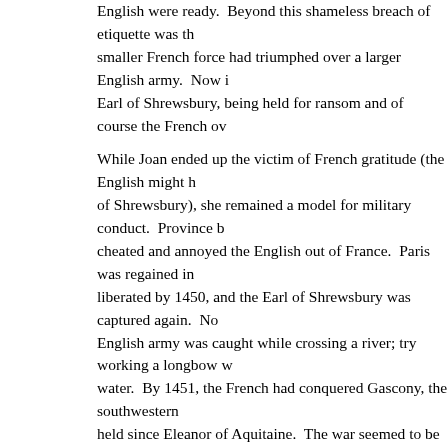English were ready.  Beyond this shameless breach of etiquette was th... smaller French force had triumphed over a larger English army.  Now i... Earl of Shrewsbury, being held for ransom and of course the French ov...
While Joan ended up the victim of French gratitude (the English might h... of Shrewsbury), she remained a model for military conduct.  Province b... cheated and annoyed the English out of France.  Paris was regained in... liberated by 1450, and the Earl of Shrewsbury was captured again.  No... English army was caught while crossing a river; try working a longbow w... water.  By 1451, the French had conquered Gascony, the southwestern... held since Eleanor of Aquitaine.  The war seemed to be over, with the E... enclave of Calais.
But the English could not believe that they had really lost.  Hadn't they w... battles?  (All those lost skirmishes hardly counted.)  Furthermore, even... Valley, and only a distant claim to Normandy, the English felt that Gasc... Ironically, the Gascons agreed.  After three centuries of English rule, th... Plantagenets, not to Paris and the Valois.  So, when an English army la... Gascony rose against the French and welcomed their British liberators.
The English commander was–can you believe it–the Earl of Shrewsbur... with another ransom and with the added vow that he would never wear... French might have assumed his permanent pacifism; however, the Earl... French.  He could still fight the French; he just couldn't wear armor.  Sh...